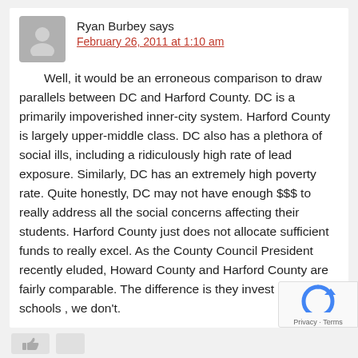Ryan Burbey says
February 26, 2011 at 1:10 am
Well, it would be an erroneous comparison to draw parallels between DC and Harford County. DC is a primarily impoverished inner-city system. Harford County is largely upper-middle class. DC also has a plethora of social ills, including a ridiculously high rate of lead exposure. Similarly, DC has an extremely high poverty rate. Quite honestly, DC may not have enough $$$ to really address all the social concerns affecting their students. Harford County just does not allocate sufficient funds to really excel. As the County Council President recently eluded, Howard County and Harford County are fairly comparable. The difference is they invest in their schools , we don't.